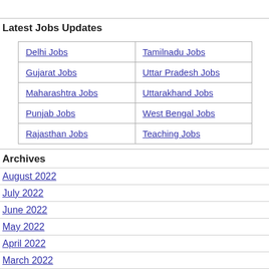Latest Jobs Updates
| Delhi Jobs | Tamilnadu Jobs |
| Gujarat Jobs | Uttar Pradesh Jobs |
| Maharashtra Jobs | Uttarakhand Jobs |
| Punjab Jobs | West Bengal Jobs |
| Rajasthan Jobs | Teaching Jobs |
Archives
August 2022
July 2022
June 2022
May 2022
April 2022
March 2022